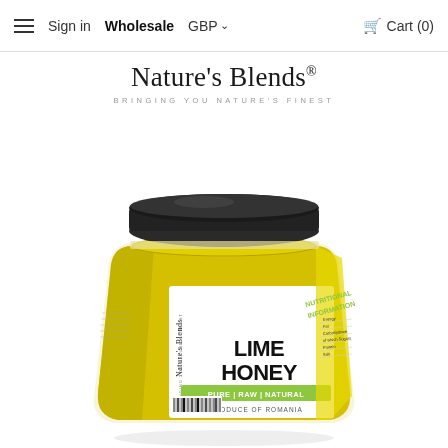≡  Sign in  Wholesale  GBP ∨  🛒 Cart (0)
Nature's Blends®
BRINGING YOU NATURE'S FINEST
[Figure (photo): Hexagonal glass jar of Nature's Blends Lime Honey with a black lid, yellow body, white label showing 'LIME HONEY – PURE | RAW | NATURAL – PRODUCE OF ROMANIA', with nutritional information panel visible on the right side of the jar.]